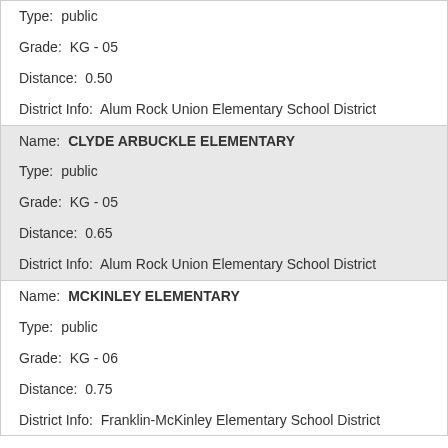| Type: | public |
| Grade: | KG - 05 |
| Distance: | 0.50 |
| District Info: | Alum Rock Union Elementary School District |
| Name: | CLYDE ARBUCKLE ELEMENTARY |
| Type: | public |
| Grade: | KG - 05 |
| Distance: | 0.65 |
| District Info: | Alum Rock Union Elementary School District |
| Name: | MCKINLEY ELEMENTARY |
| Type: | public |
| Grade: | KG - 06 |
| Distance: | 0.75 |
| District Info: | Franklin-McKinley Elementary School District |
* Distance represented in miles.